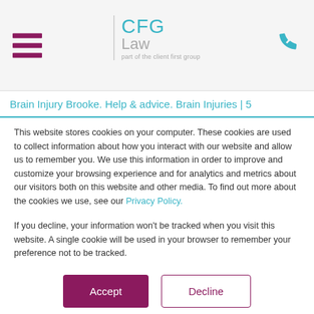CFG Law — part of the client first group
Brain Injury Brooke. Help & advice. Brain Injuries | 5
This website stores cookies on your computer. These cookies are used to collect information about how you interact with our website and allow us to remember you. We use this information in order to improve and customize your browsing experience and for analytics and metrics about our visitors both on this website and other media. To find out more about the cookies we use, see our Privacy Policy.
If you decline, your information won't be tracked when you visit this website. A single cookie will be used in your browser to remember your preference not to be tracked.